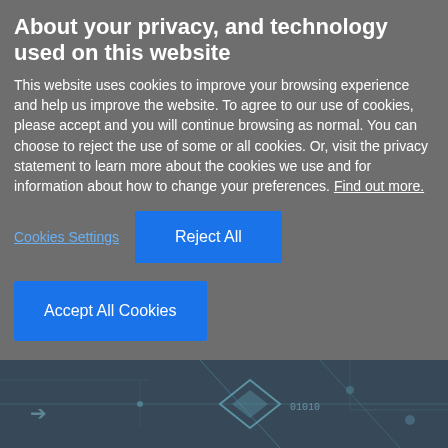About your privacy, and technology used on this website
This website uses cookies to improve your browsing experience and help us improve the website. To agree to our use of cookies, please accept and you will continue browsing as normal. You can choose to reject the use of some or all cookies. Or, visit the privacy statement to learn more about the cookies we use and for information about how to change your preferences. Find out more.
Cookies Settings
Reject All
Accept All Cookies
[Figure (screenshot): Dark teal/blue technology background with circuit board and diamond shapes with binary digits, partially visible at bottom of page]